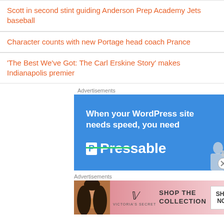Scott in second stint guiding Anderson Prep Academy Jets baseball
Character counts with new Portage head coach Prance
‘The Best We’ve Got: The Carl Erskine Story’ makes Indianapolis premier
Advertisements
[Figure (screenshot): Blue advertisement banner for Pressable WordPress hosting: 'When your WordPress site needs speed, you need Pressable' with a green underline and a person holding a laptop in the bottom right.]
Advertisements
[Figure (screenshot): Pink Victoria's Secret advertisement: 'SHOP THE COLLECTION' with a 'SHOP NOW' button and a model on the left side.]